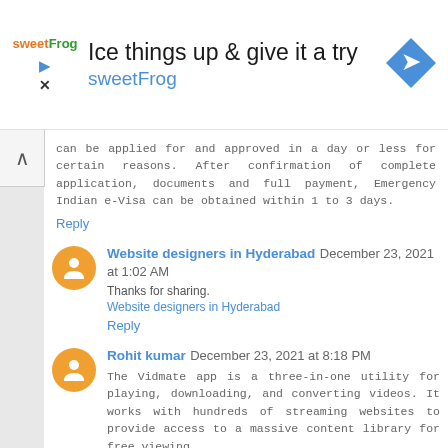[Figure (other): Advertisement banner for sweetFrog with logo, headline 'Ice things up & give it a try', brand name 'sweetFrog', and a blue diamond navigation icon]
can be applied for and approved in a day or less for certain reasons. After confirmation of complete application, documents and full payment, Emergency Indian e-Visa can be obtained within 1 to 3 days.
Reply
Website designers in Hyderabad December 23, 2021 at 1:02 AM
Thanks for sharing.
Website designers in Hyderabad
Reply
Rohit kumar December 23, 2021 at 8:18 PM
The Vidmate app is a three-in-one utility for playing, downloading, and converting videos. It works with hundreds of streaming websites to provide access to a massive content library for free viewing.
Easy access to HD videos